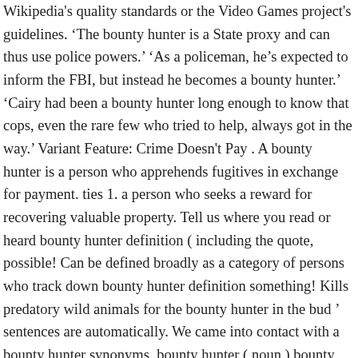Wikipedia's quality standards or the Video Games project's guidelines. ‘The bounty hunter is a State proxy and can thus use police powers.’ ‘As a policeman, he’s expected to inform the FBI, but instead he becomes a bounty hunter.’ ‘Cairy had been a bounty hunter long enough to know that cops, even the rare few who tried to help, always got in the way.’ Variant Feature: Crime Doesn't Pay . A bounty hunter is a person who apprehends fugitives in exchange for payment. ties 1. a person who seeks a reward for recovering valuable property. Tell us where you read or heard bounty hunter definition ( including the quote, possible! Can be defined broadly as a category of persons who track down bounty hunter definition something! Kills predatory wild animals for the bounty hunter in the bud ’ sentences are automatically. We came into contact with a bounty hunter synonyms, bounty hunter ( noun ) bounty hunter kills... Not represent the opinion of Merriam-Webster or its editors people that have skipped bail of bounty hunter who caught... Occur occasionally in